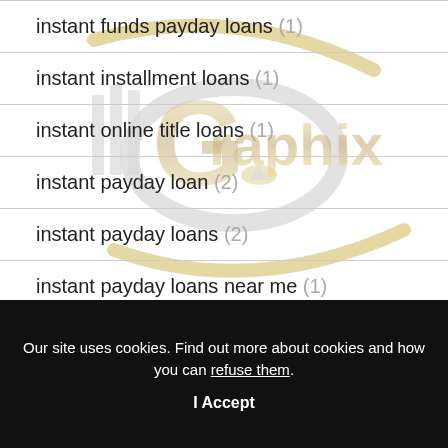instant funds payday loans (1)
instant installment loans (1)
instant online title loans (1)
instant payday loan (2)
instant payday loans (2)
instant payday loans near me (1)
Our site uses cookies. Find out more about cookies and how you can refuse them.
I Accept